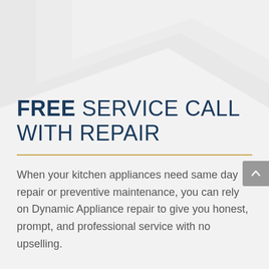[Figure (illustration): Light gray decorative diagonal/chevron shape background in upper portion of page]
FREE SERVICE CALL WITH REPAIR
When your kitchen appliances need same day repair or preventive maintenance, you can rely on Dynamic Appliance repair to give you honest, prompt, and professional service with no upselling.